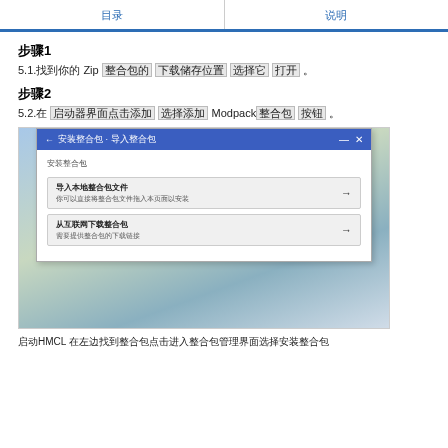目录 | 说明
步骤1
5.1.找到你的 Zip 整合包的 下载储存位置 选择它 打开 。
步骤2
5.2.在 启动器界面点击添加 选择添加 Modpack整合包 按钮 。
[Figure (screenshot): Screenshot of HMCL launcher showing '安装整合包·导入整合包' dialog with two options: '导入本地整合包文件' and '从互联网下载整合包']
启动HMCL 在左边找到整合包点击进入整合包管理界面选择安装整合包